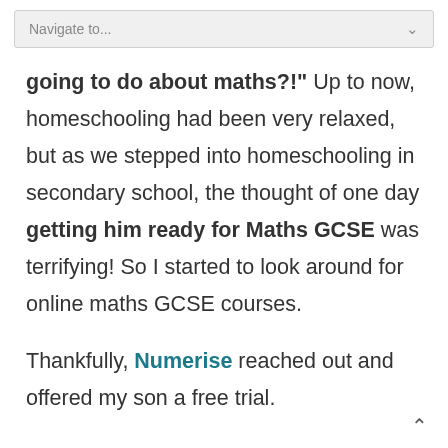Navigate to...
going to do about maths?!" Up to now, homeschooling had been very relaxed, but as we stepped into homeschooling in secondary school, the thought of one day getting him ready for Maths GCSE was terrifying! So I started to look around for online maths GCSE courses.
Thankfully, Numerise reached out and offered my son a free trial.